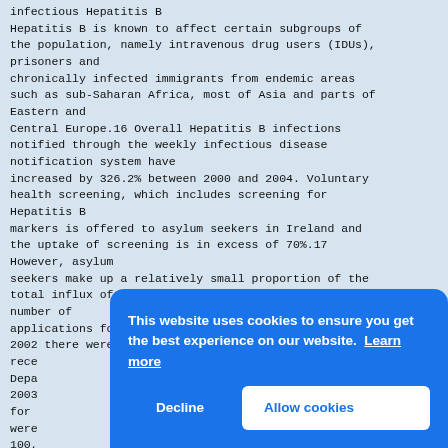Infectious Hepatitis B
Hepatitis B is known to affect certain subgroups of the population, namely intravenous drug users (IDUs), prisoners and chronically infected immigrants from endemic areas such as sub-Saharan Africa, most of Asia and parts of Eastern and Central Europe.16 Overall Hepatitis B infections notified through the weekly infectious disease notification system have increased by 326.2% between 2000 and 2004. Voluntary health screening, which includes screening for Hepatitis B markers is offered to asylum seekers in Ireland and the uptake of screening is in excess of 70%.17 However, asylum seekers make up a relatively small proportion of the total influx of people to Ireland each year and the number of applications for asylum is reducing each year. In 2002 there were 11,634 applications for asylum received by the Department... 2003... for... were... 100,... Area... admi... is i... nati... Euro... States who have also come to Ireland to work. In
[Figure (screenshot): Cookie consent overlay banner with blue background. Text reads: 'This website uses cookies to ensure you get the best experience on our website. Learn more'. Buttons: 'Decline' and 'Allow cookies'.]